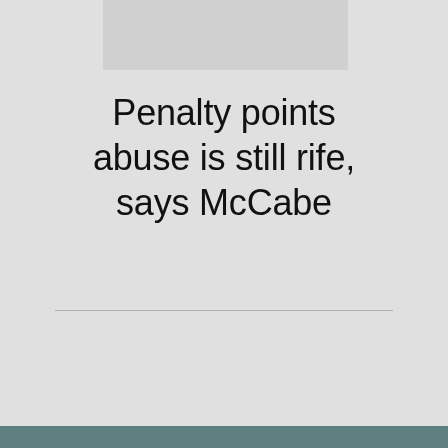[Figure (other): Light grey rectangular block at top center of page, appears to be a placeholder image or header graphic]
Penalty points abuse is still rife, says McCabe